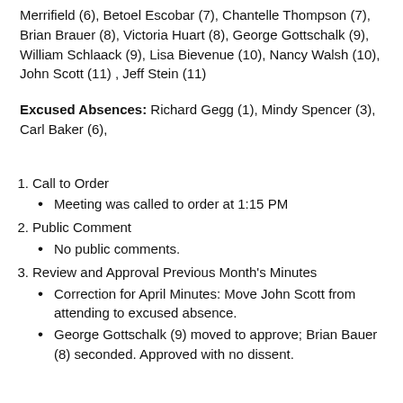Merrifield (6), Betoel Escobar (7), Chantelle Thompson (7), Brian Brauer (8), Victoria Huart (8), George Gottschalk (9), William Schlaack (9), Lisa Bievenue (10), Nancy Walsh (10), John Scott (11) , Jeff Stein (11)
Excused Absences: Richard Gegg (1), Mindy Spencer (3), Carl Baker (6),
1. Call to Order
Meeting was called to order at 1:15 PM
2. Public Comment
No public comments.
3. Review and Approval Previous Month's Minutes
Correction for April Minutes: Move John Scott from attending to excused absence.
George Gottschalk (9) moved to approve; Brian Bauer (8) seconded. Approved with no dissent.